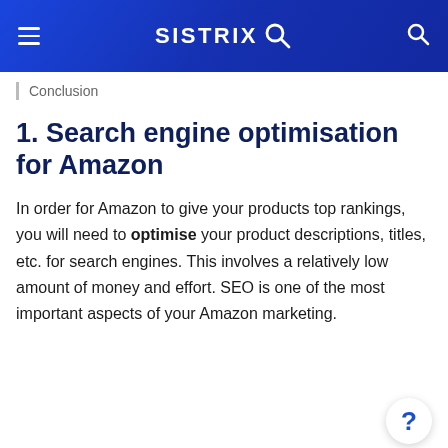SISTRIX
Conclusion
1. Search engine optimisation for Amazon
In order for Amazon to give your products top rankings, you will need to optimise your product descriptions, titles, etc. for search engines. This involves a relatively low amount of money and effort. SEO is one of the most important aspects of your Amazon marketing.